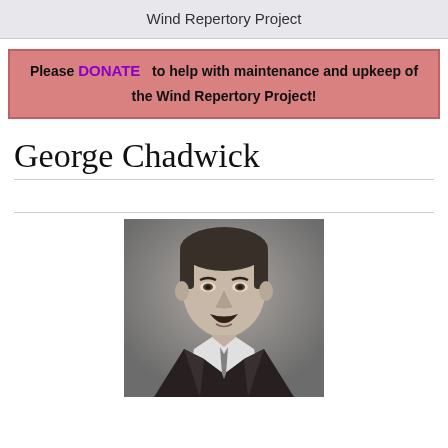Wind Repertory Project
Please DONATE to help with maintenance and upkeep of the Wind Repertory Project!
George Chadwick
[Figure (photo): Black and white portrait photograph of George Chadwick, a man with dark hair and a mustache wearing a suit and tie]